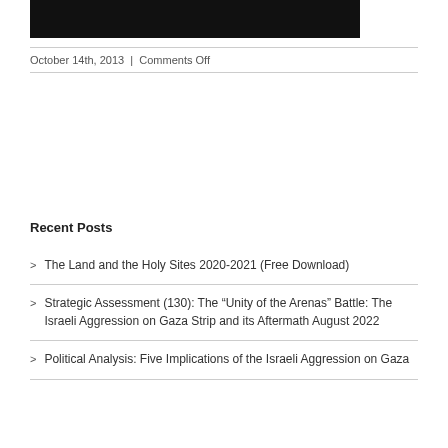[Figure (photo): Dark/black image at the top of the page]
October 14th, 2013 | Comments Off
Recent Posts
The Land and the Holy Sites 2020-2021 (Free Download)
Strategic Assessment (130): The “Unity of the Arenas” Battle: The Israeli Aggression on Gaza Strip and its Aftermath August 2022
Political Analysis: Five Implications of the Israeli Aggression on Gaza